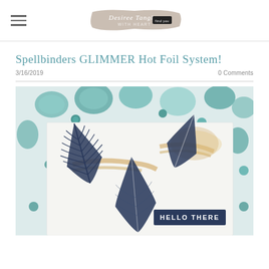Desiree Tangles - blog logo and navigation
Spellbinders GLIMMER Hot Foil System!
3/16/2019   0 Comments
[Figure (photo): Close-up photo of a handmade greeting card with navy blue feather die-cuts and gold hot foil accents, surrounded by teal decorative stones and beads on a white wooden surface. The card reads HELLO THERE.]